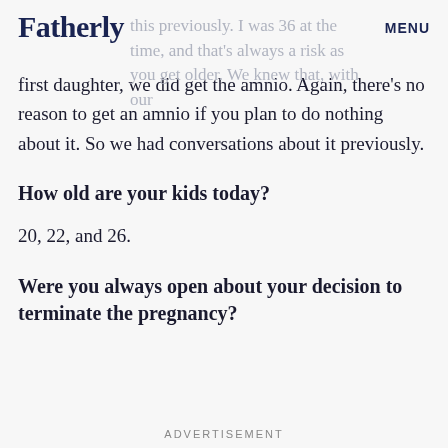Fatherly   MENU
this previously. I was 36 at the time, and that's always a risk as you get older. We knew that, with our first daughter, we did get the amnio. Again, there's no reason to get an amnio if you plan to do nothing about it. So we had conversations about it previously.
How old are your kids today?
20, 22, and 26.
Were you always open about your decision to terminate the pregnancy?
ADVERTISEMENT